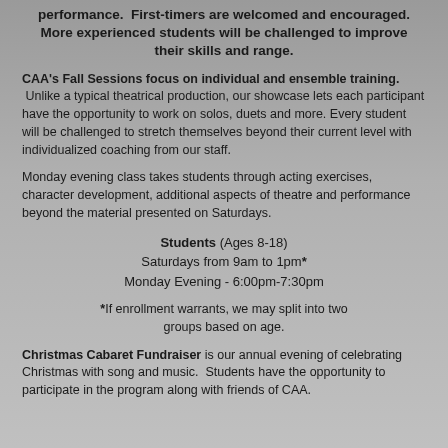performance.  First-timers are welcomed and encouraged. More experienced students will be challenged to improve their skills and range.
CAA's Fall Sessions focus on individual and ensemble training. Unlike a typical theatrical production, our showcase lets each participant have the opportunity to work on solos, duets and more. Every student will be challenged to stretch themselves beyond their current level with individualized coaching from our staff.
Monday evening class takes students through acting exercises, character development, additional aspects of theatre and performance beyond the material presented on Saturdays.
Students (Ages 8-18)
Saturdays from 9am to 1pm*
Monday Evening - 6:00pm-7:30pm
*If enrollment warrants, we may split into two groups based on age.
Christmas Cabaret Fundraiser is our annual evening of celebrating Christmas with song and music.  Students have the opportunity to participate in the program along with friends of CAA.